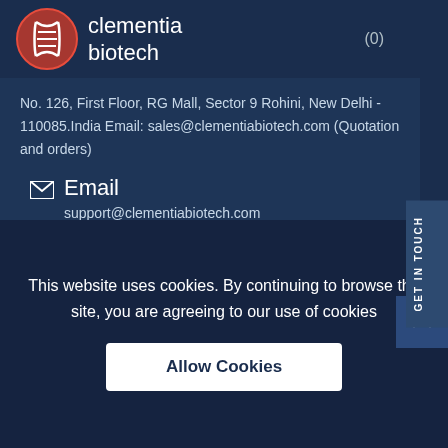[Figure (logo): Clementia Biotech logo with DNA helix in red circle on dark navy background]
clementia biotech (0)
No. 126, First Floor, RG Mall, Sector 9 Rohini, New Delhi - 110085.India Email: sales@clementiabiotech.com (Quotation and orders)
Email
support@clementiabiotech.com
Phone
(011)-47591364, 9654005895
This website uses cookies. By continuing to browse the site, you are agreeing to our use of cookies
Allow Cookies